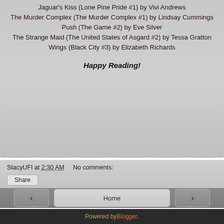Jaguar's Kiss (Lone Pine Pride #1) by Vivi Andrews
The Murder Complex (The Murder Complex #1) by Lindsay Cummings
Push (The Game #2) by Eve Silver
The Strange Maid (The United States of Asgard #2) by Tessa Gratton
Wings (Black City #3) by Elizabeth Richards
Happy Reading!
StacyUFI at 2:30 AM    No comments:
Share
Home
View web version
Powered by Blogger.